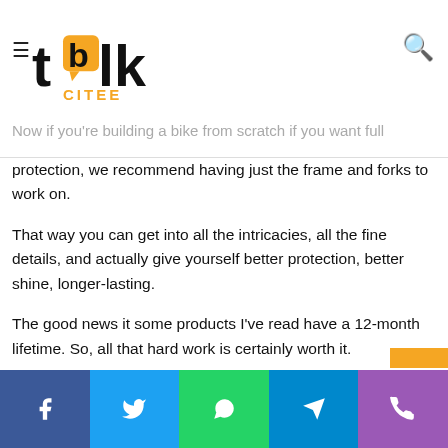talkcitee logo with hamburger menu and search icon
Now if you're building a bike from scratch if you want full protection, we recommend having just the frame and forks to work on.
That way you can get into all the intricacies, all the fine details, and actually give yourself better protection, better shine, longer-lasting.
The good news it some products I've read have a 12-month lifetime. So, all that hard work is certainly worth it.
Now if you've not been able to strip the bike down just to the frame and forks don't worry although we would recommend
Social share bar: Facebook, Twitter, WhatsApp, Telegram, Phone